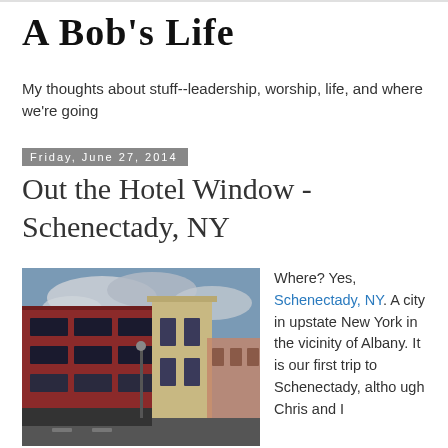A Bob's Life
My thoughts about stuff--leadership, worship, life, and where we're going
Friday, June 27, 2014
Out the Hotel Window - Schenectady, NY
[Figure (photo): Exterior view of urban buildings in Schenectady, NY — a red brick multi-story building with large windows on the left and a stone/tan colored tower structure on the right, with a cloudy sky and street scene visible]
Where? Yes, Schenectady, NY. A city in upstate New York in the vicinity of Albany. It is our first trip to Schenectady, although Chris and I